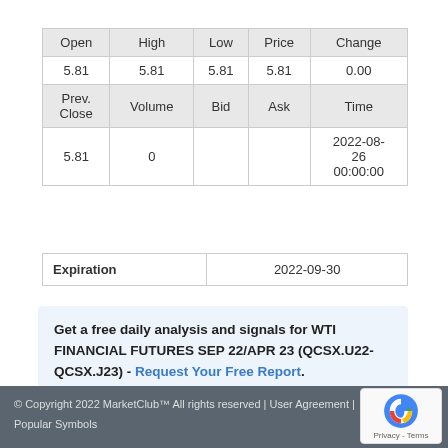| Open | High | Low | Price | Change |
| --- | --- | --- | --- | --- |
| 5.81 | 5.81 | 5.81 | 5.81 | 0.00 |
| Prev.
Close | Volume | Bid | Ask | Time |
| 5.81 | 0 |  |  | 2022-08-26 00:00:00 |
| Expiration | 2022-09-30 |
| --- | --- |
Get a free daily analysis and signals for WTI FINANCIAL FUTURES SEP 22/APR 23 (QCSX.U22-QCSX.J23) - Request Your Free Report.
© Copyright 2022 MarketClub™ All rights reserved | User Agreement | Popular Symbols